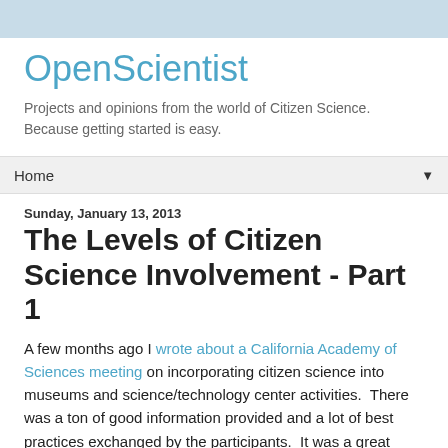OpenScientist
Projects and opinions from the world of Citizen Science. Because getting started is easy.
Home
Sunday, January 13, 2013
The Levels of Citizen Science Involvement - Part 1
A few months ago I wrote about a California Academy of Sciences meeting on incorporating citizen science into museums and science/technology center activities.  There was a ton of good information provided and a lot of best practices exchanged by the participants.  It was a great resource for project designers and researchers looking to increase their involvement with citizen scientists.  I still highly recommend reviewing the proceedings for tips you can use.